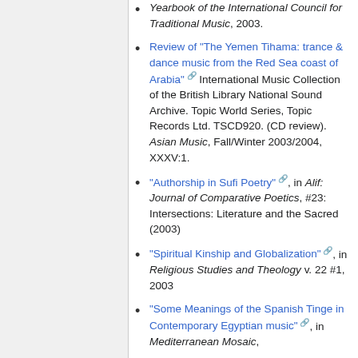Yearbook of the International Council for Traditional Music, 2003.
Review of “The Yemen Tihama: trance & dance music from the Red Sea coast of Arabia” International Music Collection of the British Library National Sound Archive. Topic World Series, Topic Records Ltd. TSCD920. (CD review). Asian Music, Fall/Winter 2003/2004, XXXV:1.
"Authorship in Sufi Poetry", in Alif: Journal of Comparative Poetics, #23: Intersections: Literature and the Sacred (2003)
“Spiritual Kinship and Globalization”, in Religious Studies and Theology v. 22 #1, 2003
"Some Meanings of the Spanish Tinge in Contemporary Egyptian music", in Mediterranean Mosaic,